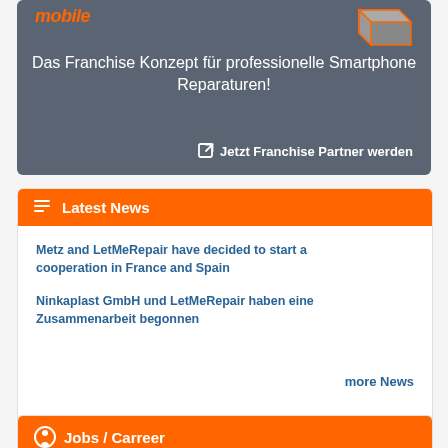[Figure (illustration): Hero banner with grey background showing 'mobile' logo in orange italic, a 3D smartphone illustration, headline text 'Das Franchise Konzept für professionelle Smartphone Reparaturen!' in white, and a CTA link 'Jetzt Franchise Partner werden']
Latest News
Metz and LetMeRepair have decided to start a cooperation in France and Spain
Ninkaplast GmbH und LetMeRepair haben eine Zusammenarbeit begonnen
more News
Jobs / Carreer